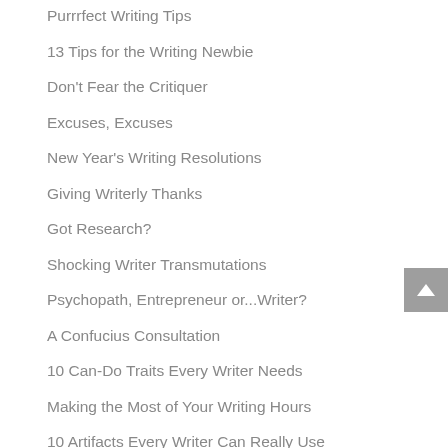Purrrfect Writing Tips
13 Tips for the Writing Newbie
Don't Fear the Critiquer
Excuses, Excuses
New Year's Writing Resolutions
Giving Writerly Thanks
Got Research?
Shocking Writer Transmutations
Psychopath, Entrepreneur or...Writer?
A Confucius Consultation
10 Can-Do Traits Every Writer Needs
Making the Most of Your Writing Hours
10 Artifacts Every Writer Can Really Use
Writer's Grimoire page 3
12 Signs Your WIP is Your Best Friend